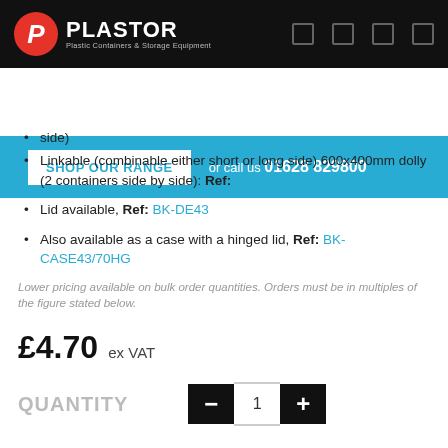PLASTOR - Plastic Containers & Storage Equipment
SHOP OUR RANGE or call us 01628 829800
side)
Linkable (combinable either short or long side) 600x400mm dolly (2 containers side by side): Ref: LH64D/Black
Lid available, Ref: BK-DE43
Also available as a case with a hinged lid, Ref: BK-CASE43/70HG
Lower pricing available on bulk order quantities. Orders must be in multiples of the figure stated below.
£4.70 ex VAT
QUANTITY  −  1  +